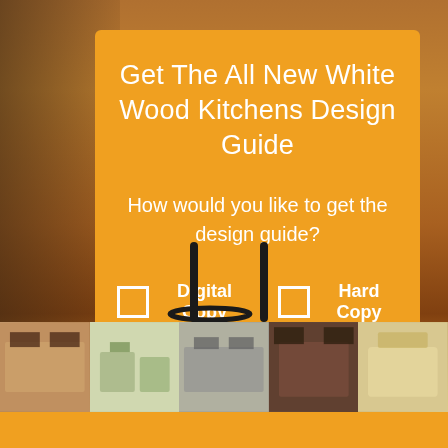[Figure (photo): Kitchen scene with barstools, hardwood floors, and white cabinets as background]
Get The All New White Wood Kitchens Design Guide
How would you like to get the design guide?
Digital Copy   Hard Copy
[Figure (photo): Strip of five thumbnail photos showing various white kitchen designs]